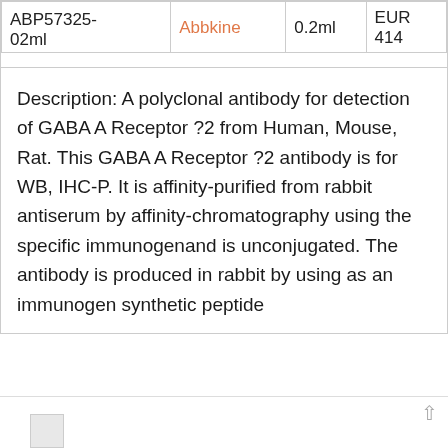| Product ID | Brand | Volume | Price |
| --- | --- | --- | --- |
| ABP57325-02ml | Abbkine | 0.2ml | EUR 414 |
Description: A polyclonal antibody for detection of GABA A Receptor ?2 from Human, Mouse, Rat. This GABA A Receptor ?2 antibody is for WB, IHC-P. It is affinity-purified from rabbit antiserum by affinity-chromatography using the specific immunogenand is unconjugated. The antibody is produced in rabbit by using as an immunogen synthetic peptide
[Figure (other): Partial image visible at bottom of page, cut off]